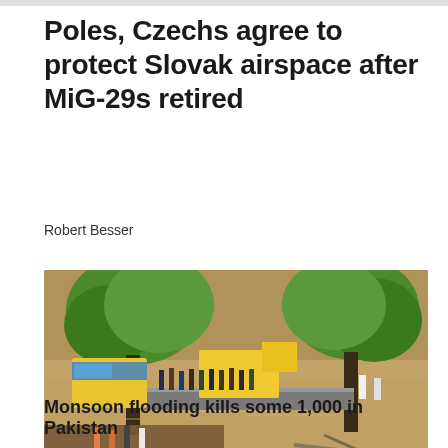Poles, Czechs agree to protect Slovak airspace after MiG-29s retired
Robert Besser
[Figure (photo): Aerial view of flood rescue scene in Pakistan. People stand on a platform/bridge surrounded by muddy floodwaters. Yellow vehicles partially submerged, green trees visible, rescue workers and civilians on elevated structure.]
Monsoon flooding kills some 1,000 in Pakistan